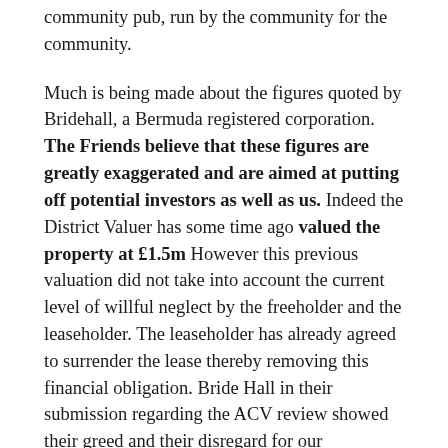community pub, run by the community for the community.
Much is being made about the figures quoted by Bridehall, a Bermuda registered corporation. The Friends believe that these figures are greatly exaggerated and are aimed at putting off potential investors as well as us. Indeed the District Valuer has some time ago valued the property at £1.5m However this previous valuation did not take into account the current level of willful neglect by the freeholder and the leaseholder. The leaseholder has already agreed to surrender the lease thereby removing this financial obligation. Bride Hall in their submission regarding the ACV review showed their greed and their disregard for our community by stating that they would willingly leave the Tumbledown Dick fall to further ruin if they were unsuccessful.
The Friends of the Tumbledown Dick are resolute in our commitment to seeing off the purchase by McDonald's and ensuring that the building is never used as a drive-in restaurant.